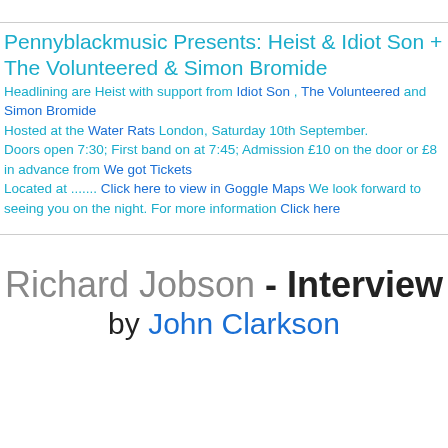Pennyblackmusic Presents: Heist & Idiot Son + The Volunteered & Simon Bromide
Headlining are Heist with support from Idiot Son , The Volunteered and Simon Bromide Hosted at the Water Rats London, Saturday 10th September. Doors open 7:30; First band on at 7:45; Admission £10 on the door or £8 in advance from We got Tickets Located at ....... Click here to view in Goggle Maps We look forward to seeing you on the night. For more information Click here
Richard Jobson - Interview by John Clarkson